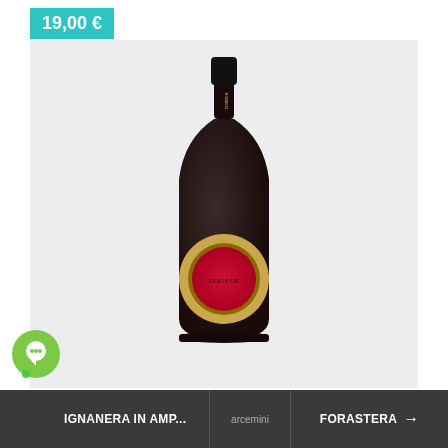19,00 €
[Figure (photo): A dark wine bottle with a black cap labeled 'crateca' on the neck, and a circular gold-bordered label with a red center on the body of the bottle, set against a light grey background.]
🗨 IGNANERA IN AMP... | arcemini | FORASTERA →